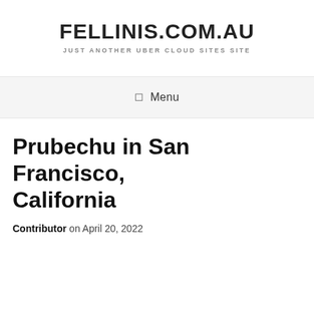FELLINIS.COM.AU
JUST ANOTHER UBER CLOUD SITES SITE
☰ Menu
Prubechu in San Francisco, California
Contributor on April 20, 2022